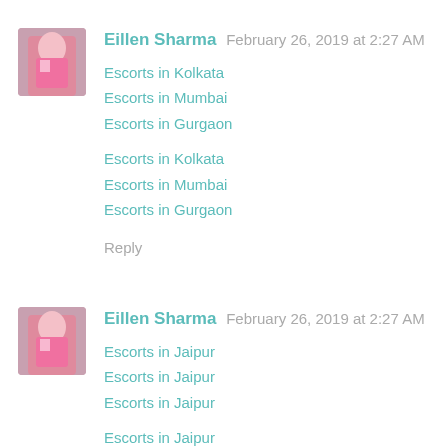Eillen Sharma  February 26, 2019 at 2:27 AM
Escorts in Kolkata
Escorts in Mumbai
Escorts in Gurgaon
Escorts in Kolkata
Escorts in Mumbai
Escorts in Gurgaon
Reply
Eillen Sharma  February 26, 2019 at 2:27 AM
Escorts in Jaipur
Escorts in Jaipur
Escorts in Jaipur
Escorts in Jaipur
Escorts in Faridabad